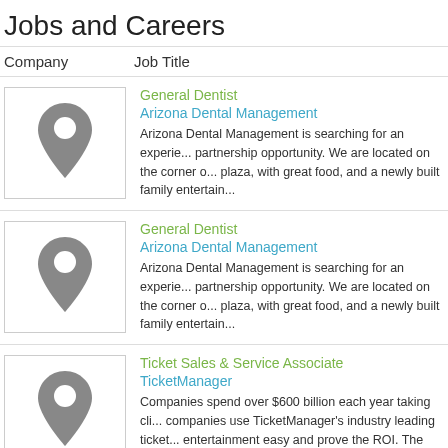Jobs and Careers
| Company | Job Title |
| --- | --- |
| [map pin icon] | General Dentist
Arizona Dental Management
Arizona Dental Management is searching for an experienced partnership opportunity. We are located on the corner o... plaza, with great food, and a newly built family entertain... |
| [map pin icon] | General Dentist
Arizona Dental Management
Arizona Dental Management is searching for an experienced partnership opportunity. We are located on the corner o... plaza, with great food, and a newly built family entertain... |
| [map pin icon] | Ticket Sales & Service Associate
TicketManager
Companies spend over $600 billion each year taking cli... companies use TicketManager's industry leading ticket... entertainment easy and prove the ROI. The Ticket S... |